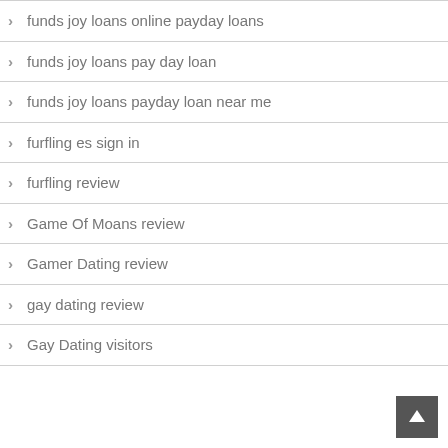funds joy loans online payday loans
funds joy loans pay day loan
funds joy loans payday loan near me
furfling es sign in
furfling review
Game Of Moans review
Gamer Dating review
gay dating review
Gay Dating visitors